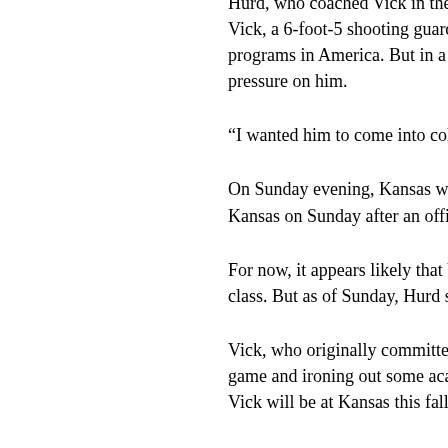Hurd, who coached Vick in the Memphis-based Vick, a 6-foot-5 shooting guard from Memphis, programs in America. But in a way, Hurd said, pressure on him.
“I wanted him to come into college regular,” Hu
On Sunday evening, Kansas was the school th Kansas on Sunday after an official visit to Lawr
For now, it appears likely that Vick will join McD class. But as of Sunday, Hurd said, it was not c
Vick, who originally committed to SMU and hea game and ironing out some academic question Vick will be at Kansas this fall.
“No official decision has been made,” Hurd sai the Kansas coaching staff will be in contact an
Hurd compares his protege to former Kansas s dealt with some academic questions out of hig